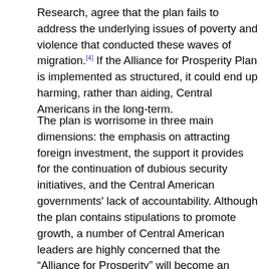Research, agree that the plan fails to address the underlying issues of poverty and violence that conducted these waves of migration.[4] If the Alliance for Prosperity Plan is implemented as structured, it could end up harming, rather than aiding, Central Americans in the long-term.
The plan is worrisome in three main dimensions: the emphasis on attracting foreign investment, the support it provides for the continuation of dubious security initiatives, and the Central American governments' lack of accountability. Although the plan contains stipulations to promote growth, a number of Central American leaders are highly concerned that the “Alliance for Prosperity” will become an opportunity for U.S. companies to further exploit the region, a thesis supported by Naome Klein’s book, The Shock Doctrine.[5] In terms of security, human rights organizations have expressed their concern for the sharp increase in U.S.